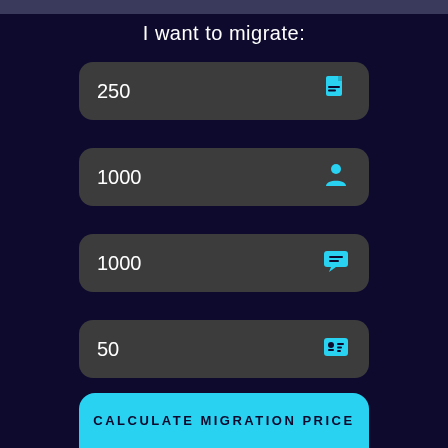I want to migrate:
250
1000
1000
50
CALCULATE MIGRATION PRICE